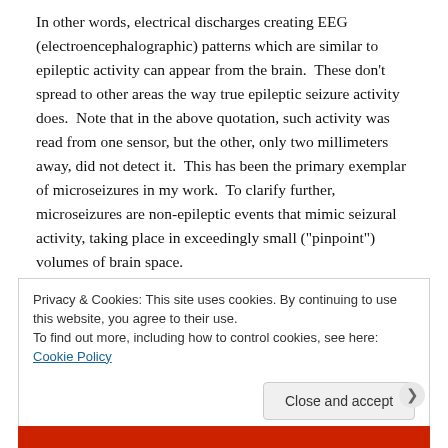In other words, electrical discharges creating EEG (electroencephalographic) patterns which are similar to epileptic activity can appear from the brain.  These don't spread to other areas the way true epileptic seizure activity does.  Note that in the above quotation, such activity was read from one sensor, but the other, only two millimeters away, did not detect it.  This has been the primary exemplar of microseizures in my work.  To clarify further, microseizures are non-epileptic events that mimic seizural activity, taking place in exceedingly small ("pinpoint") volumes of brain space.
Privacy & Cookies: This site uses cookies. By continuing to use this website, you agree to their use.
To find out more, including how to control cookies, see here: Cookie Policy
Close and accept